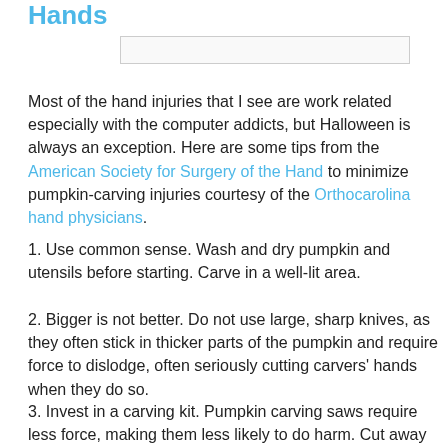Hands
[Figure (other): Search input box]
Most of the hand injuries that I see are work related especially with the computer addicts, but Halloween is always an exception. Here are some tips from the American Society for Surgery of the Hand to minimize pumpkin-carving injuries courtesy of the Orthocarolina hand physicians.
1. Use common sense. Wash and dry pumpkin and utensils before starting. Carve in a well-lit area.
2. Bigger is not better. Do not use large, sharp knives, as they often stick in thicker parts of the pumpkin and require force to dislodge, often seriously cutting carvers' hands when they do so.
3. Invest in a carving kit. Pumpkin carving saws require less force, making them less likely to do harm. Cut away from yourself in small, controlled strokes.